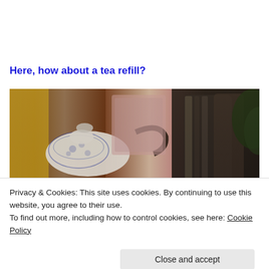Here, how about a tea refill?
[Figure (photo): A close-up photograph of vintage blue and white china teaware and a dark metallic samovar or urn, with soft-focus background showing colorful fabric and wooden furniture.]
Privacy & Cookies: This site uses cookies. By continuing to use this website, you agree to their use.
To find out more, including how to control cookies, see here: Cookie Policy
Close and accept